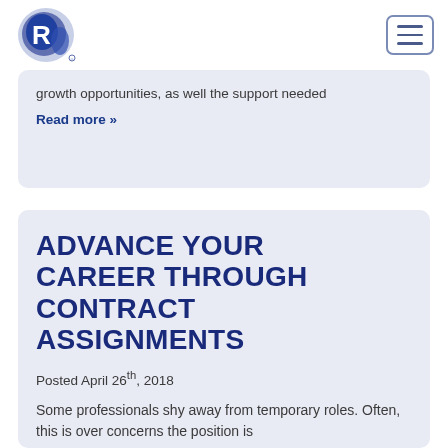R logo and navigation hamburger menu
growth opportunities, as well the support needed
Read more »
ADVANCE YOUR CAREER THROUGH CONTRACT ASSIGNMENTS
Posted April 26th, 2018
Some professionals shy away from temporary roles. Often, this is over concerns the position is